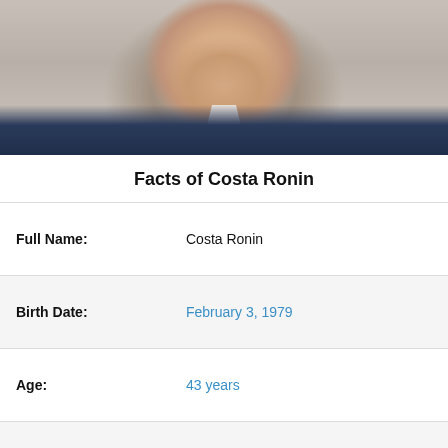[Figure (photo): Headshot photo of Costa Ronin, a man in a dark navy blazer with a white shirt, photographed from the chin/neck down to chest, with a light grey background.]
Facts of Costa Ronin
| Field | Value |
| --- | --- |
| Full Name: | Costa Ronin |
| Birth Date: | February 3, 1979 |
| Age: | 43 years |
| Gender: | Male |
View more / View less Facts of Costa Ronin